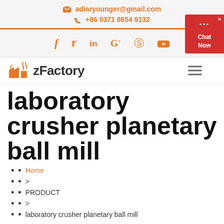adiaryounger@gmail.com  +86 0371 8654 9132
[Figure (infographic): Social media icons: f, twitter, in, G+, pinterest, youtube in orange]
[Figure (logo): zFactory logo with orange factory icon]
laboratory crusher planetary ball mill
Home
>
PRODUCT
>
laboratory crusher planetary ball mill
laboratory crusher planetary